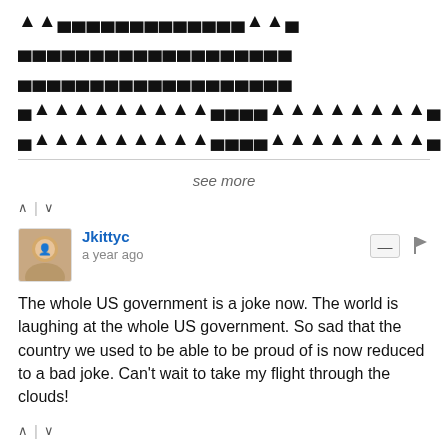[Figure (other): Redacted/censored text lines with dark triangular redaction marks]
see more
^ | v
[Figure (photo): Avatar photo of Jkittyc user (person with light hair)]
Jkittyc
a year ago
The whole US government is a joke now. The world is laughing at the whole US government. So sad that the country we used to be able to be proud of is now reduced to a bad joke. Can't wait to take my flight through the clouds!
^ | v
[Figure (illustration): Generic gray circle avatar for Ernest T. Bass]
Ernest T. Bass
a year ago
The bizarro world takes over the Intel community.
1 ^ | v
Rancher Joe